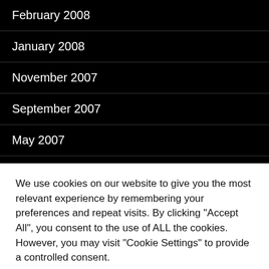February 2008
January 2008
November 2007
September 2007
May 2007
April 2007
March 2007
February 2007
We use cookies on our website to give you the most relevant experience by remembering your preferences and repeat visits. By clicking "Accept All", you consent to the use of ALL the cookies. However, you may visit "Cookie Settings" to provide a controlled consent.
Cookie Settings | Accept All